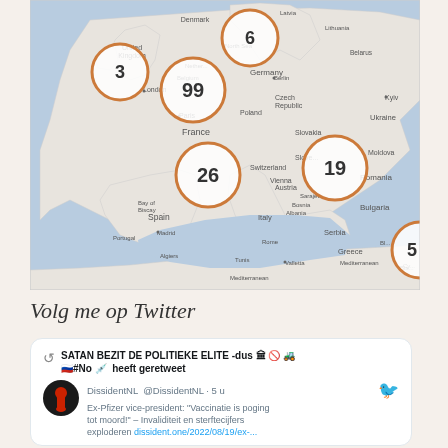[Figure (map): Map of Europe showing orange circle markers with numbers: 3 (UK), 99 (Belgium/Netherlands area), 6 (Denmark/Scandinavia), 26 (France), 19 (Austria/Balkans area), 5 (partially visible, bottom right/Bulgaria area)]
Volg me op Twitter
SATAN BEZIT DE POLITIEKE ELITE -dus 🏛️ 🚫 🚜 🇷🇺#No 💉 heeft geretweet
DissidentNL @DissidentNL · 5 u
Ex-Pfizer vice-president: "Vaccinatie is poging tot moord!" – Invaliditeit en sterftecijfers exploderen dissident.one/2022/08/19/ex-...